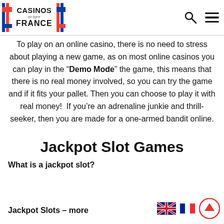Casinos en ligne France
To play on an online casino, there is no need to stress about playing a new game, as on most online casinos you can play in the “Demo Mode” the game, this means that there is no real money involved, so you can try the game and if it fits your pallet. Then you can choose to play it with real money!  If you’re an adrenaline junkie and thrill-seeker, then you are made for a one-armed bandit online.
Jackpot Slot Games
What is a jackpot slot?
Jackpot Slots – more